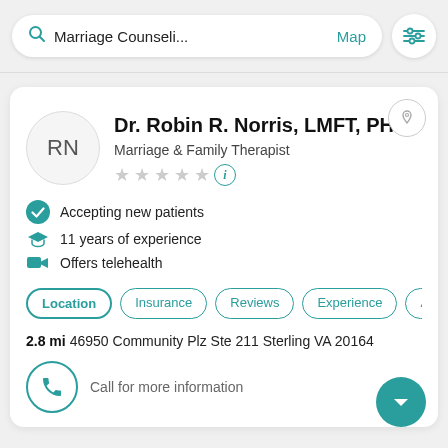Marriage Counseli...  Map
Dr. Robin R. Norris, LMFT, PHD
Marriage & Family Therapist
Accepting new patients
11 years of experience
Offers telehealth
Location  Insurance  Reviews  Experience  Abo
2.8 mi  46950 Community Plz Ste 211 Sterling VA 20164
Call for more information